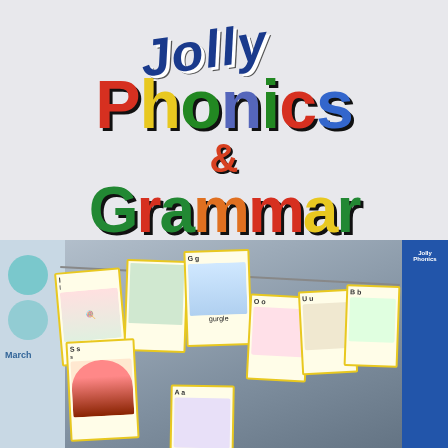[Figure (logo): Jolly Phonics & Grammar logo with colorful large text on light gray background. 'Jolly' in blue italic script at top, 'Phonics' in large mixed colors (red P, yellow h, green o, blue/purple n, green i, red c, blue s), '&' in orange, 'Grammar' in large mixed colors (green G, red r, green a, orange m, red m, yellow a, green r). All letters have dark drop shadows.]
[Figure (photo): Photograph of a classroom display showing Jolly Phonics alphabet flash cards strung on a line. Cards visible include: lollipop (l), Gg (gurgle), Oo, Uu, Bb, Ff, Ss (snake), Aa. Left side shows teal calendar circles and 'March' label. Right side shows partial blue banner. Background is a dark tiled wall.]